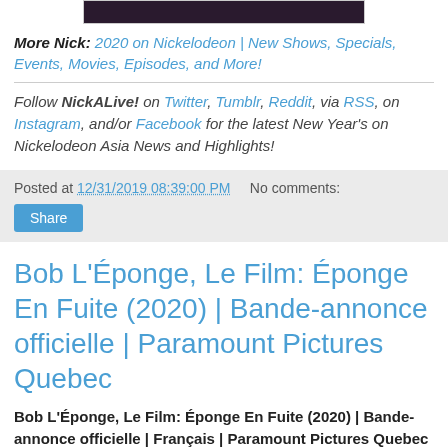[Figure (photo): Dark/black image banner at top of page]
More Nick: 2020 on Nickelodeon | New Shows, Specials, Events, Movies, Episodes, and More!
Follow NickALive! on Twitter, Tumblr, Reddit, via RSS, on Instagram, and/or Facebook for the latest New Year's on Nickelodeon Asia News and Highlights!
Posted at 12/31/2019 08:39:00 PM   No comments:
Share
Bob L'Éponge, Le Film: Éponge En Fuite (2020) | Bande-annonce officielle | Paramount Pictures Quebec
Bob L'Éponge, Le Film: Éponge En Fuite (2020) | Bande-annonce officielle | Français | Paramount Pictures Quebec